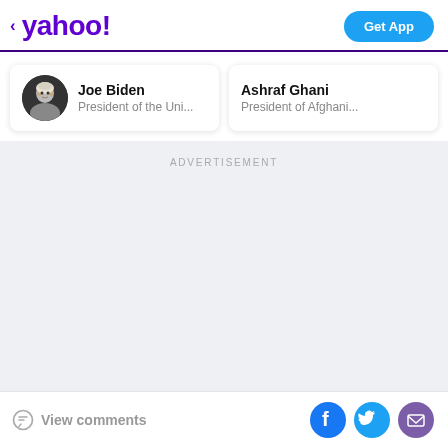< yahoo! | Get App
Joe Biden
President of the Uni...
Ashraf Ghani
President of Afghani...
ADVERTISEMENT
View comments
[Figure (infographic): Social sharing icons: Facebook, Twitter, Email]